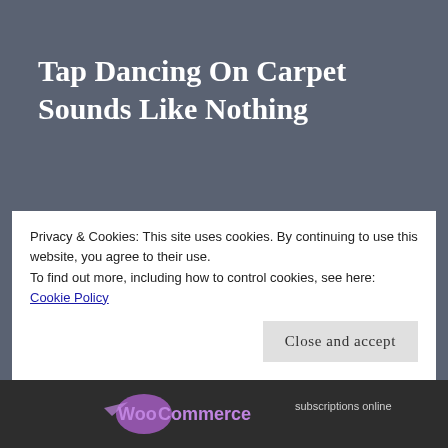Tap Dancing On Carpet Sounds Like Nothing
Take the Stage is like a talent show, and I had hastily prepared a little tap dance to the opening song of Princess Jellyfish (Koko Dake no Hanashi by Chatmonchy). It included some really basic tap techniques and of course my giant Clara plushie
Privacy & Cookies: This site uses cookies. By continuing to use this website, you agree to their use.
To find out more, including how to control cookies, see here: Cookie Policy
Close and accept
[Figure (logo): WooCommerce logo and 'subscriptions online' text in bottom bar]